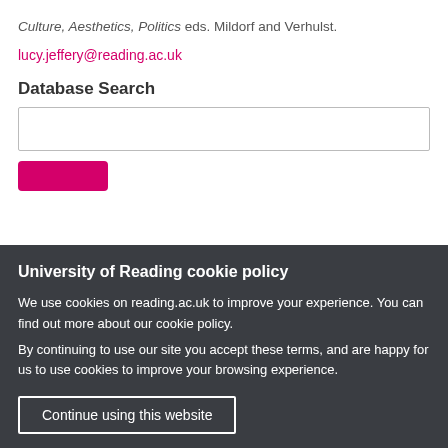Culture, Aesthetics, Politics eds. Mildorf and Verhulst.
lucy.jeffery@reading.ac.uk
Database Search
[Figure (screenshot): Search input text box, empty, with border]
[Figure (screenshot): Partially visible pink/magenta search button]
University of Reading cookie policy
We use cookies on reading.ac.uk to improve your experience. You can find out more about our cookie policy.
By continuing to use our site you accept these terms, and are happy for us to use cookies to improve your browsing experience.
Continue using this website